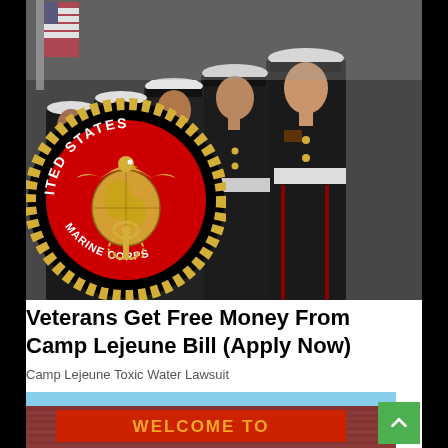[Figure (photo): US Marines standing in formal dress uniform formation, with a large US Marine Corps emblem/seal overlaid on the lower left showing eagle, globe, and anchor on red background with gold rope border and 'United States' text arc]
Veterans Get Free Money From Camp Lejeune Bill (Apply Now)
Camp Lejeune Toxic Water Lawsuit
[Figure (photo): Partial view of a red brick building with a red sign reading 'WELCOME TO' in gold/orange letters, blue sky visible in background]